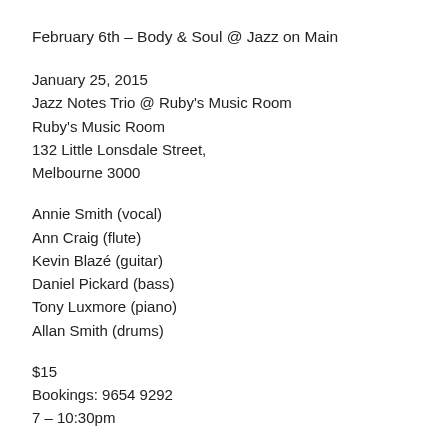February 6th – Body & Soul @ Jazz on Main
January 25, 2015
Jazz Notes Trio @ Ruby's Music Room
Ruby's Music Room
132 Little Lonsdale Street,
Melbourne 3000
Annie Smith (vocal)
Ann Craig (flute)
Kevin Blazé (guitar)
Daniel Pickard (bass)
Tony Luxmore (piano)
Allan Smith (drums)
$15
Bookings: 9654 9292
7 – 10:30pm